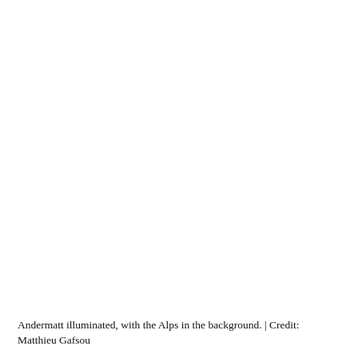[Figure (photo): A large photograph occupying most of the page, showing Andermatt illuminated at night with the Alps in the background. The image area appears mostly white/blank in this rendering.]
Andermatt illuminated, with the Alps in the background. | Credit: Matthieu Gafsou